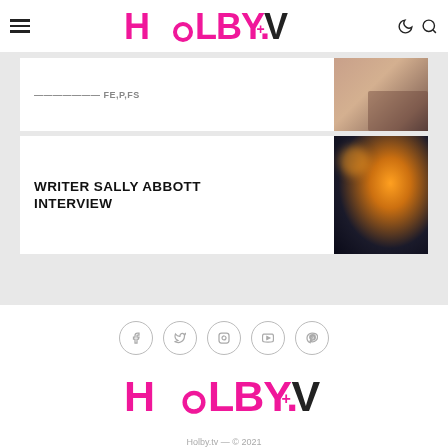HOLBY.TV
WRITER SALLY ABBOTT INTERVIEW
[Figure (logo): Holby.tv logo in pink on white background, footer version]
Holby.tv — © 2021